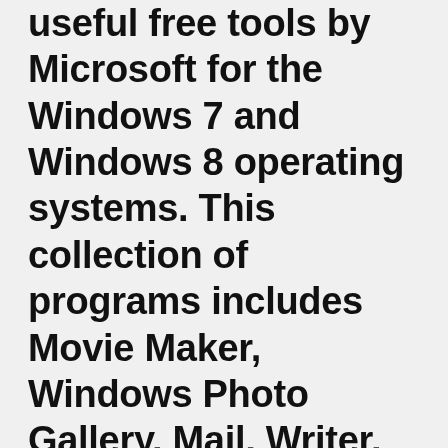useful free tools by Microsoft for the Windows 7 and Windows 8 operating systems. This collection of programs includes Movie Maker, Windows Photo Gallery, Mail, Writer, Family Safety and SkyDrive.
Download Apps/Games for PC/Laptop/Windows 7,8,10. Keyboard is a Tools app developed by Fotoable, Inc.. The latest version of Keyboard is 2.7.5.2752. It was The most popular free editor & compositor for Mac & PC. Includes over 410 powerful effects & presets. Take your first step towards pro-filmmaking with the world's leading free VFX & editing software. In contrast to Windows Vista, Windows 7 was generally praised by critics,